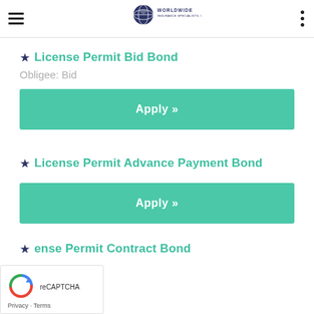Worldwide Insurance Specialists, Inc.
★ License Permit Bid Bond
Obligee: Bid
Apply »
★ License Permit Advance Payment Bond
Apply »
★ License Permit Contract Bond